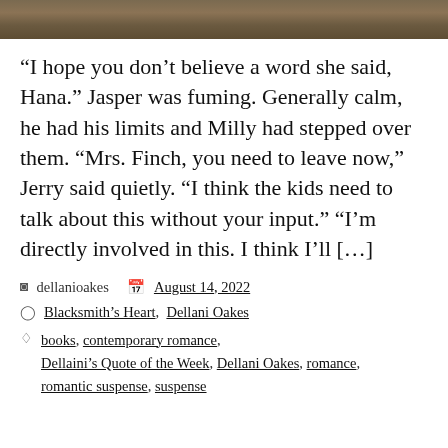[Figure (photo): Partial photo strip at top of page showing an outdoor nature/animal scene with brown and green tones]
“I hope you don’t believe a word she said, Hana.” Jasper was fuming. Generally calm, he had his limits and Milly had stepped over them. “Mrs. Finch, you need to leave now,” Jerry said quietly. “I think the kids need to talk about this without your input.” “I’m directly involved in this. I think I’ll [...]
dellanioakes   August 14, 2022
Blacksmith’s Heart, Dellani Oakes
books, contemporary romance, Dellaini’s Quote of the Week, Dellani Oakes, romance, romantic suspense, suspense